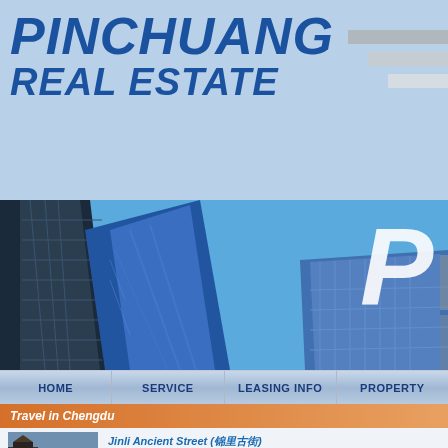PINCHUANG REAL ESTATE
[Figure (photo): Upward-angle photograph of modern glass skyscrapers against a blue sky, with a large white letter P logo overlay in the top-right corner]
HOME | SERVICE | LEASING INFO | PROPERTY
Travel in Chengdu
[Figure (photo): Small thumbnail photo of Jinli Ancient Street showing traditional Chinese architecture]
Jinli Ancient Street (锦里古街)